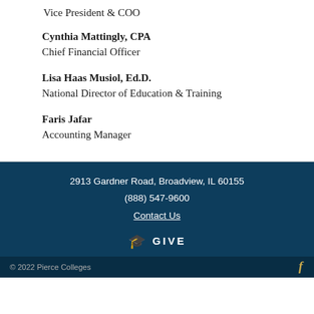Vice President & COO
Cynthia Mattingly, CPA
Chief Financial Officer
Lisa Haas Musiol, Ed.D.
National Director of Education & Training
Faris Jafar
Accounting Manager
2913 Gardner Road, Broadview, IL 60155
(888) 547-9600
Contact Us
GIVE
© 2022 Pierce Colleges